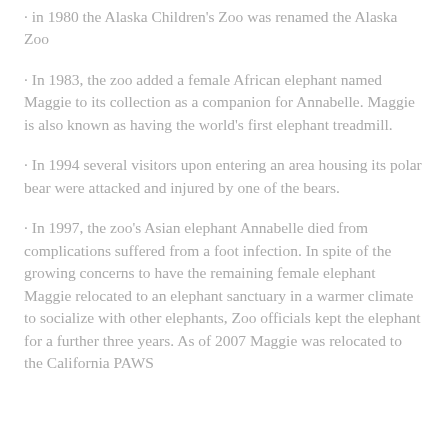in 1980 the Alaska Children's Zoo was renamed the Alaska Zoo
In 1983, the zoo added a female African elephant named Maggie to its collection as a companion for Annabelle. Maggie is also known as having the world's first elephant treadmill.
In 1994 several visitors upon entering an area housing its polar bear were attacked and injured by one of the bears.
In 1997, the zoo's Asian elephant Annabelle died from complications suffered from a foot infection. In spite of the growing concerns to have the remaining female elephant Maggie relocated to an elephant sanctuary in a warmer climate to socialize with other elephants, Zoo officials kept the elephant for a further three years. As of 2007 Maggie was relocated to the California PAWS